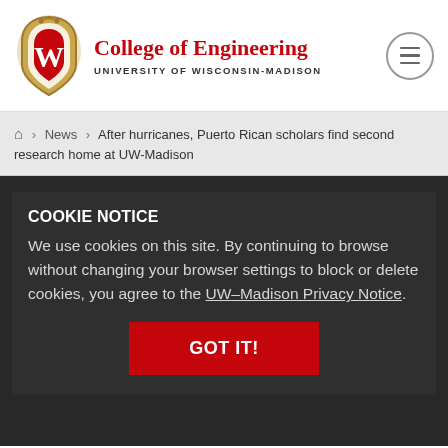[Figure (logo): University of Wisconsin-Madison crest/shield logo with W emblem]
College of Engineering
UNIVERSITY OF WISCONSIN-MADISON
🏠 > News > After hurricanes, Puerto Rican scholars find second research home at UW-Madison
COOKIE NOTICE
We use cookies on this site. By continuing to browse without changing your browser settings to block or delete cookies, you agree to the UW–Madison Privacy Notice.
GOT IT!